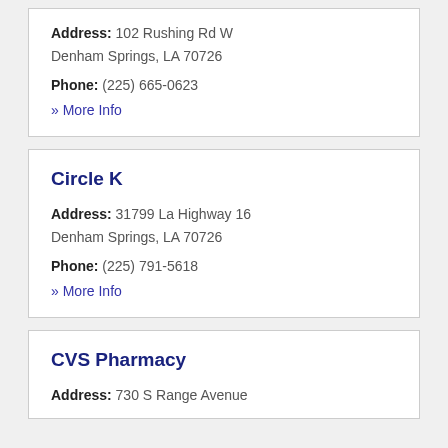Address: 102 Rushing Rd W
Denham Springs, LA 70726
Phone: (225) 665-0623
» More Info
Circle K
Address: 31799 La Highway 16
Denham Springs, LA 70726
Phone: (225) 791-5618
» More Info
CVS Pharmacy
Address: 730 S Range Avenue